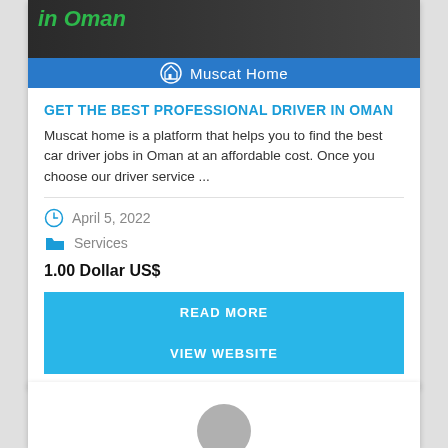[Figure (screenshot): Banner image showing 'in Oman' text in green italic and a person in the background, with a blue bar at the bottom showing Muscat Home logo and text]
GET THE BEST PROFESSIONAL DRIVER IN OMAN
Muscat home is a platform that helps you to find the best car driver jobs in Oman at an affordable cost. Once you choose our driver service ...
April 5, 2022
Services
1.00 Dollar US$
READ MORE
VIEW WEBSITE
[Figure (photo): Bottom card partially visible with avatar circle]